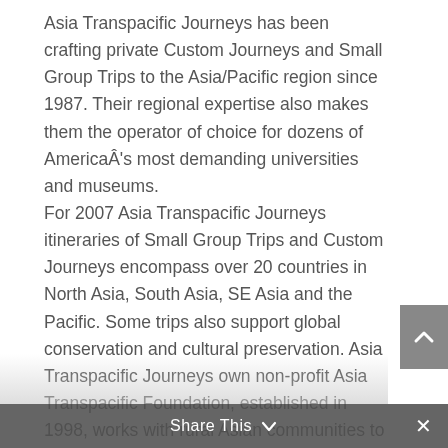Asia Transpacific Journeys has been crafting private Custom Journeys and Small Group Trips to the Asia/Pacific region since 1987. Their regional expertise also makes them the operator of choice for dozens of AmericaÂ's most demanding universities and museums.
For 2007 Asia Transpacific Journeys itineraries of Small Group Trips and Custom Journeys encompass over 20 countries in North Asia, South Asia, SE Asia and the Pacific. Some trips also support global conservation and cultural preservation. Asia Transpacific Journeys own non-profit Asia Transpacific Foundation, established in 1998, works with rural Asian communities to provide clean drinking water through locally
Share This ∨  ×